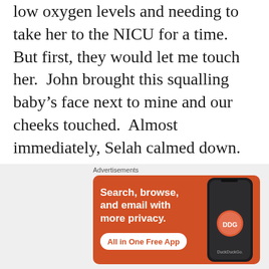low oxygen levels and needing to take her to the NICU for a time. But first, they would let me touch her. John brought this squalling baby's face next to mine and our cheeks touched. Almost immediately, Selah calmed down. She nuzzled my cheek and began rooting. Even though she didn't find what she was looking for, she remained in a state of greater calm. Something about that touch – that simple skin-to-skin cheek-to-cheek contact was enough.
[Figure (other): DuckDuckGo advertisement banner on orange background with phone graphic. Text: 'Search, browse, and email with more privacy. All in One Free App'. DuckDuckGo logo shown on phone.]